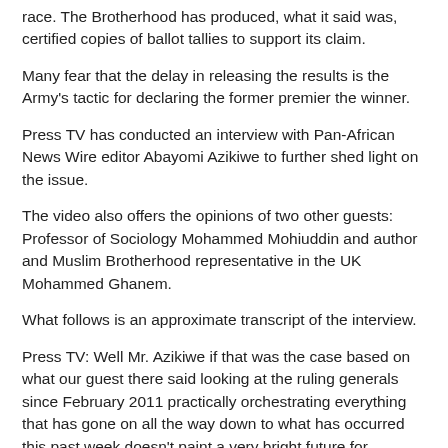race. The Brotherhood has produced, what it said was, certified copies of ballot tallies to support its claim.
Many fear that the delay in releasing the results is the Army's tactic for declaring the former premier the winner.
Press TV has conducted an interview with Pan-African News Wire editor Abayomi Azikiwe to further shed light on the issue.
The video also offers the opinions of two other guests: Professor of Sociology Mohammed Mohiuddin and author and Muslim Brotherhood representative in the UK Mohammed Ghanem.
What follows is an approximate transcript of the interview.
Press TV: Well Mr. Azikiwe if that was the case based on what our guest there said looking at the ruling generals since February 2011 practically orchestrating everything that has gone on all the way down to what has occurred this past week doesn't paint a very bright future for Egyptians there, does it?